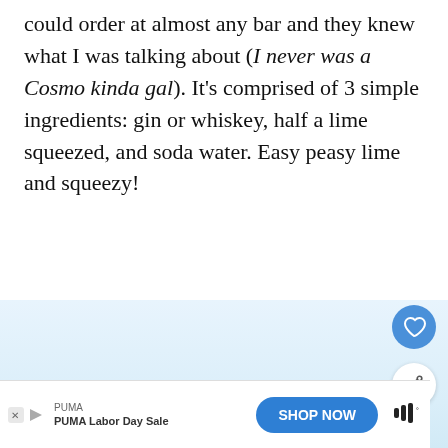could order at almost any bar and they knew what I was talking about (I never was a Cosmo kinda gal). It's comprised of 3 simple ingredients: gin or whiskey, half a lime squeezed, and soda water. Easy peasy lime and squeezy!
[Figure (photo): Light blue background image with a green lime visible at the bottom center, partially cropped. Social media UI overlays including a heart/favorite button, a share button, and a 'What's Next' card showing a cocktail thumbnail.]
[Figure (infographic): Advertisement bar at the bottom: PUMA Labor Day Sale with a 'SHOP NOW' blue button and ad icons.]